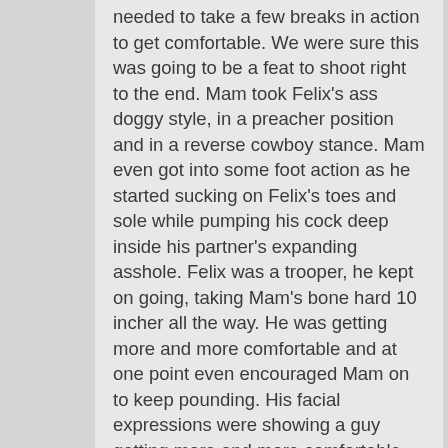needed to take a few breaks in action to get comfortable. We were sure this was going to be a feat to shoot right to the end. Mam took Felix's ass doggy style, in a preacher position and in a reverse cowboy stance. Mam even got into some foot action as he started sucking on Felix's toes and sole while pumping his cock deep inside his partner's expanding asshole. Felix was a trooper, he kept on going, taking Mam's bone hard 10 incher all the way. He was getting more and more comfortable and at one point even encouraged Mam on to keep pounding. His facial expressions were showing a guy getting more and more comfortable and wanting more and more cock. Mam was having a great time. Initially cautious with his killer cock, once Felix's ass expanded, he went to town on his bottom's butthole with no restraint. To cum, Mam wanted Felix to work his cock some more. And suck is exactly what Felix did. Lying on the bed with his face directly beneath